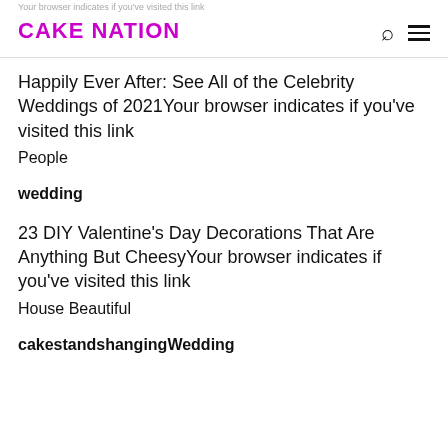Your browser indicates if you've visited this link
CAKE NATION
Happily Ever After: See All of the Celebrity Weddings of 2021Your browser indicates if you've visited this link
People
wedding
23 DIY Valentine's Day Decorations That Are Anything But CheesyYour browser indicates if you've visited this link
House Beautiful
cakestandshangingWedding